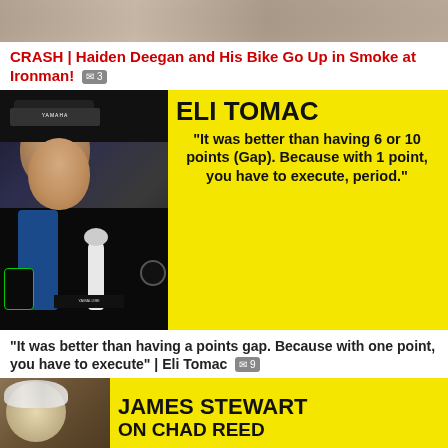[Figure (photo): Top portion of a dirt/motocross scene, brownish terrain background]
CRASH | Haiden Deegan and His Bike Go Up in Smoke at Ironman! 💬3
[Figure (photo): Eli Tomac in Yamaha racing gear holding a microphone on yellow background with quote: "It was better than having 6 or 10 points (Gap). Because with 1 point, you have to execute, period."]
"It was better than having a points gap. Because with one point, you have to execute" | Eli Tomac 💬9
[Figure (photo): James Stewart on yellow background, partial view, with text JAMES STEWART ON CHAD REED]